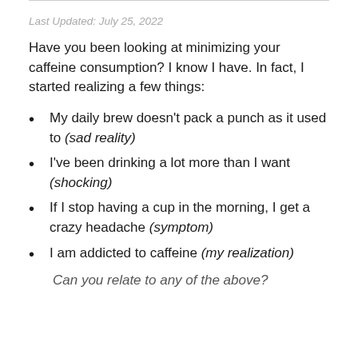Last Updated: July 25, 2022
Have you been looking at minimizing your caffeine consumption? I know I have. In fact, I started realizing a few things:
My daily brew doesn't pack a punch as it used to (sad reality)
I've been drinking a lot more than I want (shocking)
If I stop having a cup in the morning, I get a crazy headache (symptom)
I am addicted to caffeine (my realization)
Can you relate to any of the above?